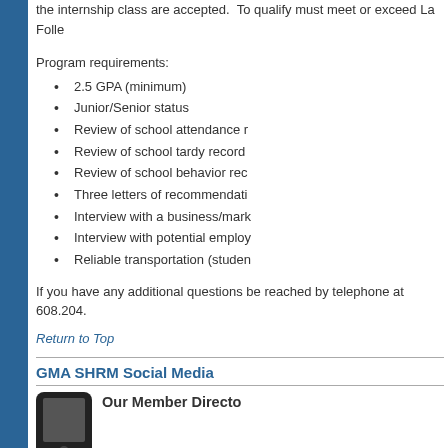the internship class are accepted. To qualify must meet or exceed La Folle
Program requirements:
2.5 GPA (minimum)
Junior/Senior status
Review of school attendance r
Review of school tardy record
Review of school behavior rec
Three letters of recommendati
Interview with a business/mark
Interview with potential employ
Reliable transportation (studen
If you have any additional questions be reached by telephone at 608.204.
Return to Top
GMA SHRM Social Media
Our Member Directo